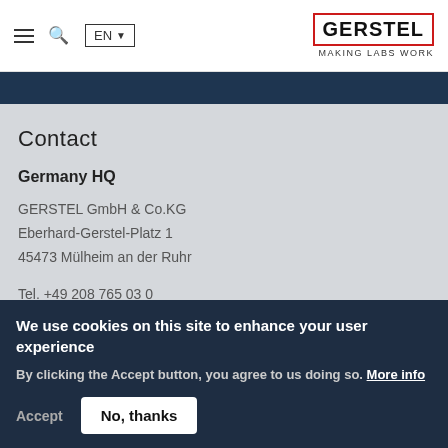≡ 🔍 EN ▼   GERSTEL MAKING LABS WORK
Contact
Germany HQ
GERSTEL GmbH & Co.KG
Eberhard-Gerstel-Platz 1
45473 Mülheim an der Ruhr
Tel. +49 208 765 03 0
We use cookies on this site to enhance your user experience
By clicking the Accept button, you agree to us doing so. More info
Accept   No, thanks